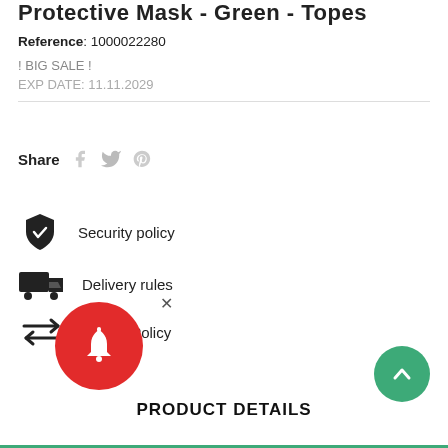Protective Mask - Green - Topes
Reference: 1000022280
! BIG SALE !
EXP DATE: 11.11.2029
Share
Security policy
Delivery rules
Return Policy
PRODUCT DETAILS